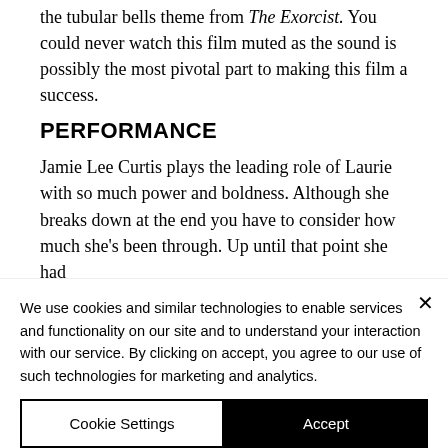the tubular bells theme from The Exorcist. You could never watch this film muted as the sound is possibly the most pivotal part to making this film a success.
PERFORMANCE
Jamie Lee Curtis plays the leading role of Laurie with so much power and boldness. Although she breaks down at the end you have to consider how much she's been through. Up until that point she had
We use cookies and similar technologies to enable services and functionality on our site and to understand your interaction with our service. By clicking on accept, you agree to our use of such technologies for marketing and analytics.